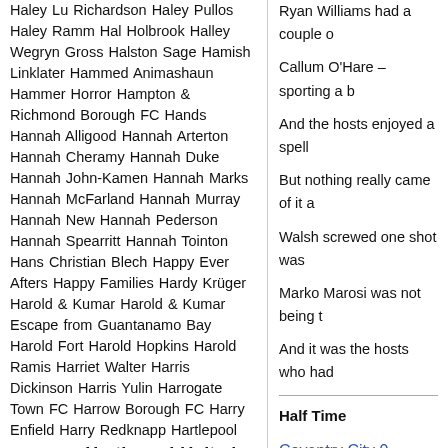Haley Lu Richardson Haley Pullos Haley Ramm Hal Holbrook Halley Wegryn Gross Halston Sage Hamish Linklater Hammed Animashaun Hammer Horror Hampton & Richmond Borough FC Hands Hannah Alligood Hannah Arterton Hannah Cheramy Hannah Duke Hannah John-Kamen Hannah Marks Hannah McFarland Hannah Murray Hannah New Hannah Pederson Hannah Spearritt Hannah Tointon Hans Christian Blech Happy Ever Afters Happy Families Hardy Krüger Harold & Kumar Harold & Kumar Escape from Guantanamo Bay Harold Fort Harold Hopkins Harold Ramis Harriet Walter Harris Dickinson Harris Yulin Harrogate Town FC Harrow Borough FC Harry Enfield Harry Redknapp Hartlepool by-election Hartlepool United FC Harvey White Hattie Jacques Havant & Waterlooville FC Hayden Carter Hayden Christensen Hayden Panettiere Hayden Szeto Hayes MacArthur Hayley Atwell Hayley Gray Hayley McFarland Hayley Orrantia He's All That Heart Of Glass Heather Doerksen Heather Graham Heather Mitchell Heather Tod Mitchell
Ryan Williams had a couple o
Callum O'Hare – sporting a b
And the hosts enjoyed a spell
But nothing really came of it a
Walsh screwed one shot was
Marko Marosi was not being t
And it was the hosts who had
Half Time
Coventry City 0
Portsmouth 0
Williams tried to flick a pass t